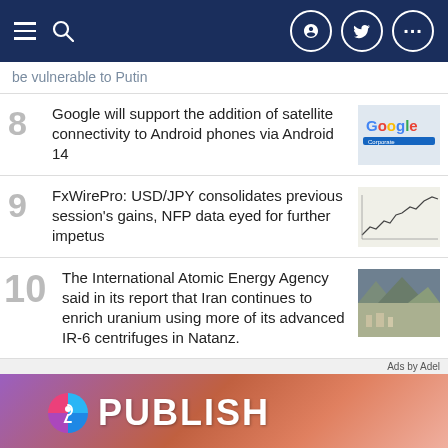Navigation bar with menu, search, Facebook, Twitter, more icons
be vulnerable to Putin
8 Google will support the addition of satellite connectivity to Android phones via Android 14
9 FxWirePro: USD/JPY consolidates previous session's gains, NFP data eyed for further impetus
10 The International Atomic Energy Agency said in its report that Iran continues to enrich uranium using more of its advanced IR-6 centrifuges in Natanz.
[Figure (infographic): Advertisement banner with purple/orange gradient background, circular P logo, and PUBLISH text]